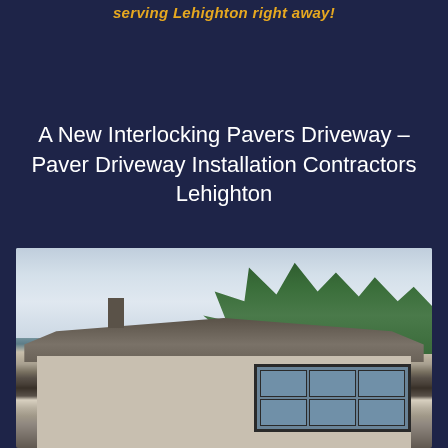serving Lehighton right away!
A New Interlocking Pavers Driveway – Paver Driveway Installation Contractors Lehighton
[Figure (photo): Exterior photo of a modern single-story house with dark roof, large windows, stone accents, and trees in the background against a cloudy sky]